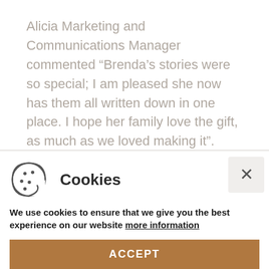Alicia Marketing and Communications Manager commented “Brenda’s stories were so special; I am pleased she now has them all written down in one place. I hope her family love the gift, as much as we loved making it”.
[Figure (other): A partial circular loading spinner in beige/tan color]
Cookies
We use cookies to ensure that we give you the best experience on our website more information